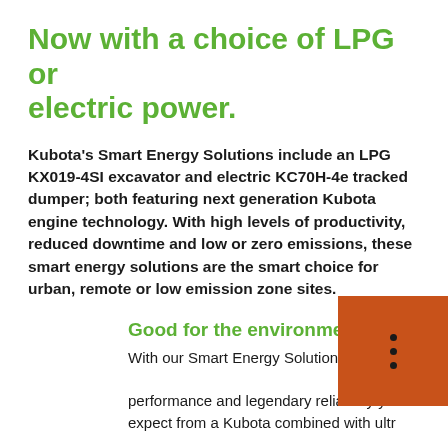Now with a choice of LPG or electric power.
Kubota's Smart Energy Solutions include an LPG KX019-4SI excavator and electric KC70H-4e tracked dumper; both featuring next generation Kubota engine technology. With high levels of productivity, reduced downtime and low or zero emissions, these smart energy solutions are the smart choice for urban, remote or low emission zone sites.
Good for the environment
With our Smart Energy Solutions you get the performance and legendary reliability you'd expect from a Kubota combined with ultra low environmental impact.
Good for operators